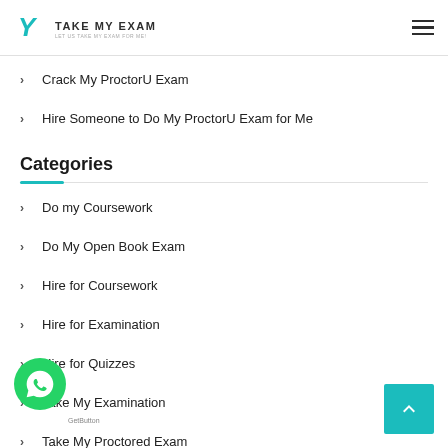Take My Exam
Crack My ProctorU Exam
Hire Someone to Do My ProctorU Exam for Me
Categories
Do my Coursework
Do My Open Book Exam
Hire for Coursework
Hire for Examination
Hire for Quizzes
Take My Examination
Take My Proctored Exam
Take My University Class